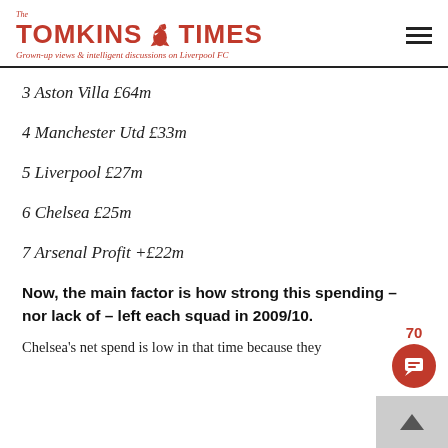The Tomkins Times – Grown-up views & intelligent discussions on Liverpool FC
3 Aston Villa £64m
4 Manchester Utd £33m
5 Liverpool £27m
6 Chelsea £25m
7 Arsenal Profit +£22m
Now, the main factor is how strong this spending – nor lack of – left each squad in 2009/10.
Chelsea's net spend is low in that time because they